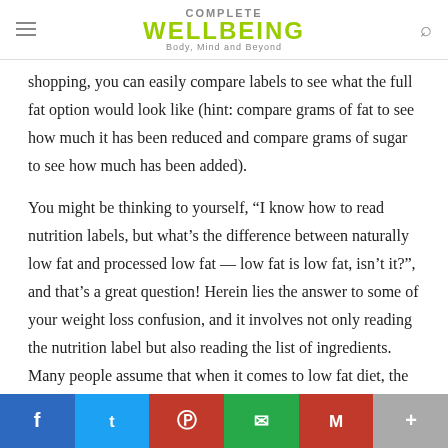COMPLETE WELLBEING Body, Mind and Beyond
shopping, you can easily compare labels to see what the full fat option would look like (hint: compare grams of fat to see how much it has been reduced and compare grams of sugar to see how much has been added).
You might be thinking to yourself, “I know how to read nutrition labels, but what’s the difference between naturally low fat and processed low fat — low fat is low fat, isn’t it?”, and that’s a great question! Herein lies the answer to some of your weight loss confusion, and it involves not only reading the nutrition label but also reading the list of ingredients. Many people assume that when it comes to low fat diet, the lesser fat the better, but that is far from
f  t  p  [whatsapp]  M  +